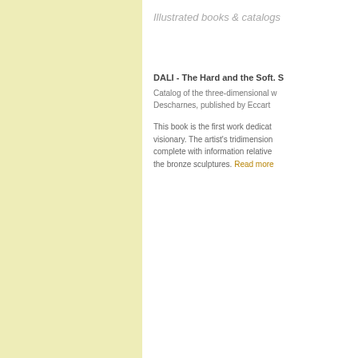Illustrated books & catalogs
DALI - The Hard and the Soft. S
Catalog of the three-dimensional w Descharnes, published by Eccart
This book is the first work dedicat visionary. The artist's tridimension complete with information relative the bronze sculptures. Read more